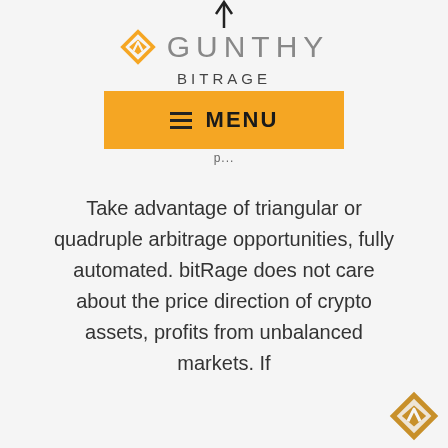[Figure (logo): Gunthy logo with diamond/arrow icon in gold and grey GUNTHY lettering]
BITRAGE
[Figure (other): Orange MENU button with hamburger icon]
Take advantage of triangular or quadruple arbitrage opportunities, fully automated. bitRage does not care about the price direction of crypto assets, profits from unbalanced markets. If